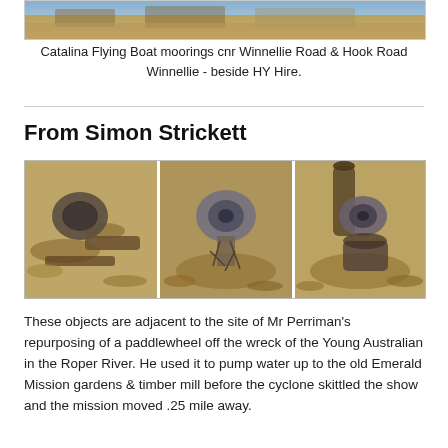[Figure (photo): Partial photo of Catalina Flying Boat moorings area, showing ground/landscape, top portion of image cropped]
Catalina Flying Boat moorings cnr Winnellie Road & Hook Road Winnellie - beside HY Hire.
From Simon Strickett
[Figure (photo): Three-panel photograph showing old metal objects (possibly cannon balls, pipes, and rusted artifacts) lying on dry leaves and dirt ground.]
These objects are adjacent to the site of Mr Perriman's repurposing of a paddlewheel off the wreck of the Young Australian in the Roper River. He used it to pump water up to the old Emerald Mission gardens & timber mill before the cyclone skittled the show and the mission moved .25 mile away.